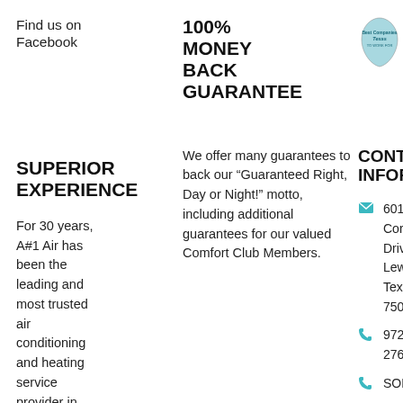Find us on Facebook
100% MONEY BACK GUARANTEE
[Figure (logo): Three Texas Monthly Best Companies to Work For awards badges with Texas outline shape]
SUPERIOR EXPERIENCE
We offer many guarantees to back our "Guaranteed Right, Day or Night!" motto, including additional guarantees for our valued Comfort Club Members.
CONTACT INFORMATION
601 East Corporate Drive Lewisville Texas 75057
972-464-2762
SOL...
For 30 years, A#1 Air has been the leading and most trusted air conditioning and heating service provider in